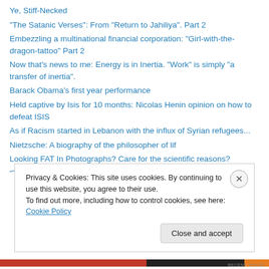Ye, Stiff-Necked
“The Satanic Verses”: From “Return to Jahiliya”. Part 2
Embezzling a multinational financial corporation: "Girl-with-the-dragon-tattoo" Part 2
Now that's news to me: Energy is in Inertia. “Work” is simply “a transfer of inertia”.
Barack Obama’s first year performance
Held captive by Isis for 10 months: Nicolas Henin opinion on how to defeat ISIS
As if Racism started in Lebanon with the influx of Syrian refugees...
Nietzsche: A biography of the philosopher of lif
Looking FAT In Photographs? Care for the scientific reasons?
“The Parson and the Prophet (Mohammad)” Book Review
Privacy & Cookies: This site uses cookies. By continuing to use this website, you agree to their use.
To find out more, including how to control cookies, see here: Cookie Policy
Close and accept